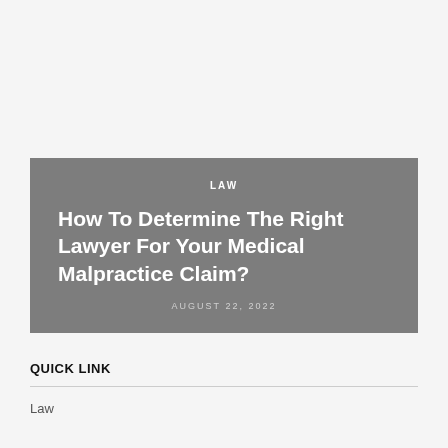[Figure (photo): Light gray placeholder image area at the top of the page]
LAW
How To Determine The Right Lawyer For Your Medical Malpractice Claim?
AUGUST 22, 2022
QUICK LINK
Law